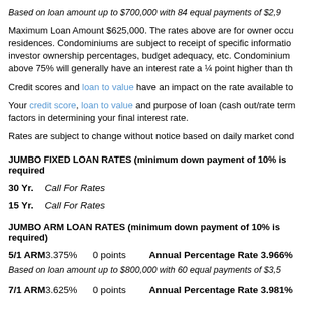Based on loan amount up to $700,000 with 84 equal payments of $2,9...
Maximum Loan Amount $625,000. The rates above are for owner occu residences. Condominiums are subject to receipt of specific informatio investor ownership percentages, budget adequacy, etc. Condominium above 75% will generally have an interest rate a ¼ point higher than th
Credit scores and loan to value have an impact on the rate available to
Your credit score, loan to value and purpose of loan (cash out/rate term factors in determining your final interest rate.
Rates are subject to change without notice based on daily market cond
JUMBO FIXED LOAN RATES (minimum down payment of 10% is required
30 Yr.   Call For Rates
15 Yr.   Call For Rates
JUMBO ARM LOAN RATES (minimum down payment of 10% is required)
5/1 ARM  3.375%  0 points  Annual Percentage Rate 3.966%
Based on loan amount up to $800,000 with 60 equal payments of $3,5...
7/1 ARM  3.625%  0 points  Annual Percentage Rate 3.981%